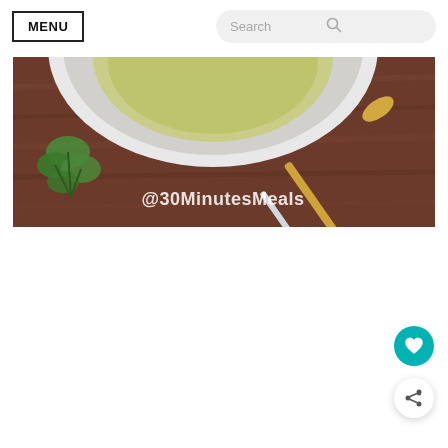MENU | Search
[Figure (photo): Food photo showing a white bowl with green soup or sauce, a gold spoon/spatula, fresh green herbs on a wooden board surface, with watermark text '@30MinutesMeals' in the lower right]
[Figure (illustration): Teal circular FAB button with a heart icon]
[Figure (illustration): White circular FAB button with a share/network icon and plus sign]